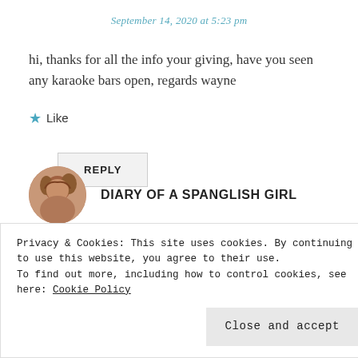September 14, 2020 at 5:23 pm
hi, thanks for all the info your giving, have you seen any karaoke bars open, regards wayne
★ Like
REPLY
DIARY OF A SPANGLISH GIRL
Privacy & Cookies: This site uses cookies. By continuing to use this website, you agree to their use.
To find out more, including how to control cookies, see here: Cookie Policy
Close and accept